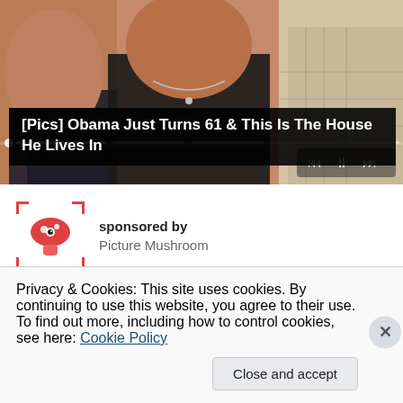[Figure (photo): Photo of people, partially cropped. Shows torsos and necks of at least two people. One person wearing dark top with floral pattern, another in black tank top with necklace, third in plaid shirt. Media player controls and progress bar overlay visible.]
[Pics] Obama Just Turns 61 & This Is The House He Lives In
sponsored by
Picture Mushroom
Privacy & Cookies: This site uses cookies. By continuing to use this website, you agree to their use.
To find out more, including how to control cookies, see here: Cookie Policy
Close and accept